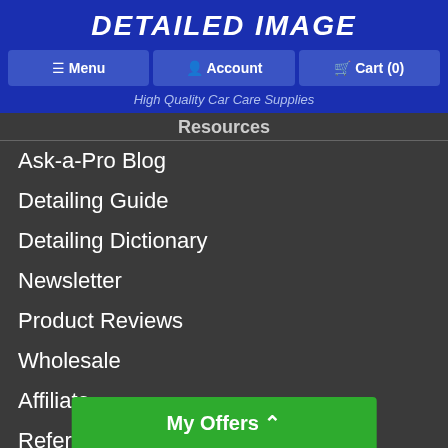DETAILED IMAGE
Menu | Account | Cart (0)
High Quality Car Care Supplies
Resources
Ask-a-Pro Blog
Detailing Guide
Detailing Dictionary
Newsletter
Product Reviews
Wholesale
Affiliate
Refer a Friend
Accessibility Vi...
My Offers ∧